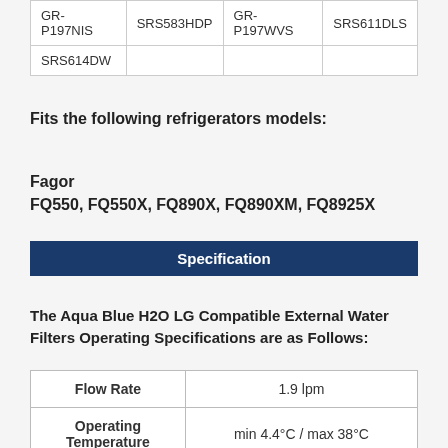| GR-P197NIS | SRS583HDP | GR-P197WVS | SRS611DLS |
| SRS614DW |  |  |  |
Fits the following refrigerators models:
Fagor
FQ550, FQ550X, FQ890X, FQ890XM, FQ8925X
Specification
The Aqua Blue H2O LG Compatible External Water Filters Operating Specifications are as Follows:
| Flow Rate | 1.9 lpm |
| --- | --- |
| Operating Temperature | min 4.4°C / max 38°C |
| Operating | min 172 kPa (25 psi) / max 862 |